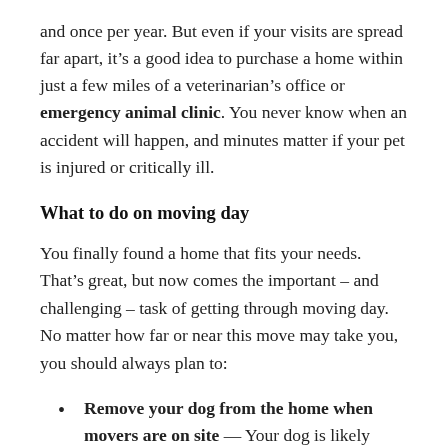and once per year. But even if your visits are spread far apart, it’s a good idea to purchase a home within just a few miles of a veterinarian’s office or emergency animal clinic. You never know when an accident will happen, and minutes matter if your pet is injured or critically ill.
What to do on moving day
You finally found a home that fits your needs. That’s great, but now comes the important – and challenging – task of getting through moving day. No matter how far or near this move may take you, you should always plan to:
Remove your dog from the home when movers are on site — Your dog is likely already going to be anxious come moving day. He will